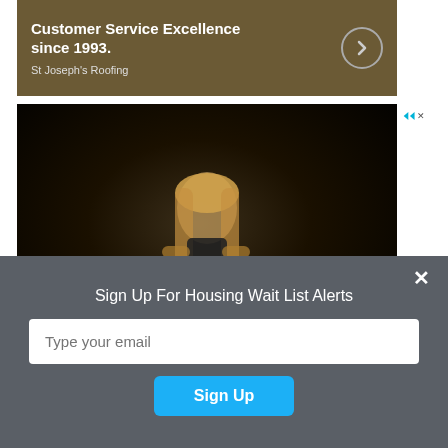[Figure (photo): Advertisement banner with brown/tan background showing text 'Customer Service Excellence since 1993.' and St Joseph's Roofing with a circular arrow button]
[Figure (photo): Advertisement photo of a woman with long blonde hair and tattoos playing video games on a black background, with text '1 Month Personal' overlaid at the bottom]
Sign Up For Housing Wait List Alerts
Type your email
Sign Up